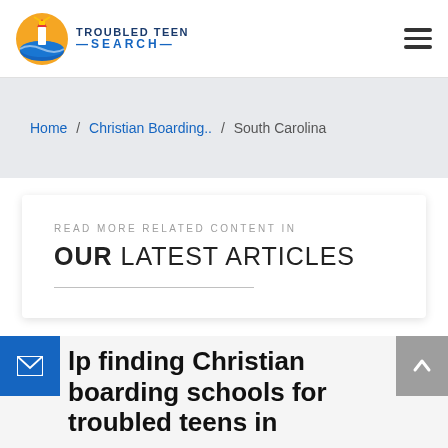TROUBLED TEEN SEARCH
Home / Christian Boarding.. / South Carolina
READ MORE RELATED CONTENT IN
OUR LATEST ARTICLES
Help finding Christian boarding schools for troubled teens in